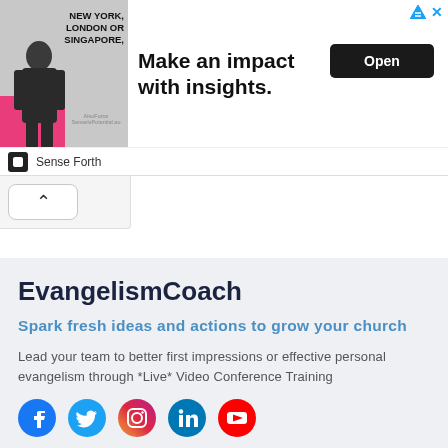[Figure (screenshot): Advertisement banner: image of a man in suit with text 'NEW YORK, LONDON OR SINGAPORE,' pink block, headline 'Make an impact with insights.' and Open button. Sponsored by Sense Forth.]
[Figure (screenshot): Collapse/chevron-up button below ad banner]
EvangelismCoach
Spark fresh ideas and actions to grow your church
Lead your team to better first impressions or effective personal evangelism through *Live* Video Conference Training
[Figure (illustration): Row of social media icons: Facebook (blue), Twitter (blue), Instagram (gradient), LinkedIn (blue), YouTube (red)]